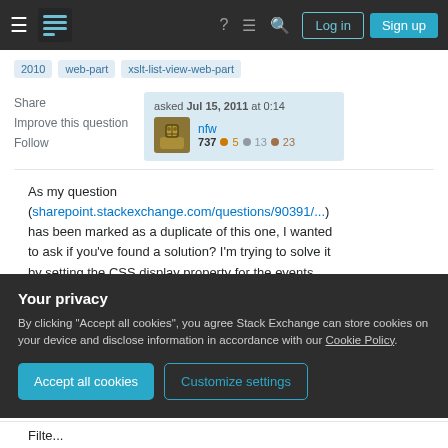Stack Exchange navigation bar with hamburger menu, logo, help, chat, search icons, Log in and Sign up buttons
2010
web-part
xslt-list-view-web-part
Share  Improve this question  Follow
asked Jul 15, 2011 at 0:14
nfw
737  5  13  23
As my question (sharepoint.stackexchange.com/questions/90391/...) has been marked as a duplicate of this one, I wanted to ask if you've found a solution? I'm trying to solve it by setting the CSS display property for the events
Your privacy
By clicking "Accept all cookies", you agree Stack Exchange can store cookies on your device and disclose information in accordance with our Cookie Policy.
Accept all cookies    Customize settings
Filte...